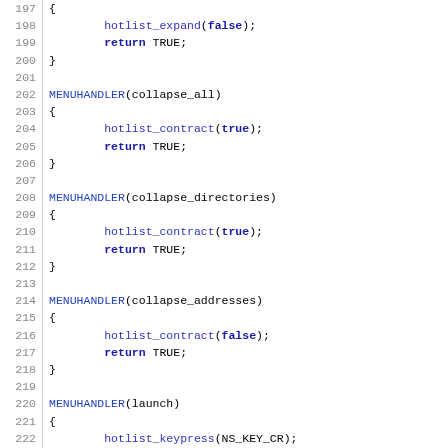Source code listing lines 197-226 showing C/C++ menu handler functions: collapse_all, collapse_directories, collapse_addresses, and launch.